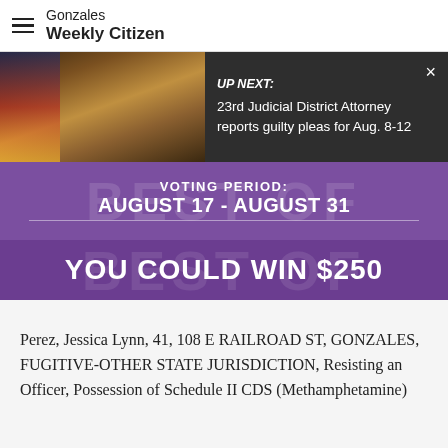Gonzales Weekly Citizen
[Figure (screenshot): Up Next overlay on gavel/courtroom image: '23rd Judicial District Attorney reports guilty pleas for Aug. 8-12']
[Figure (infographic): Purple banner: VOTING PERIOD: AUGUST 17 - AUGUST 31 / YOU COULD WIN $250]
Perez, Jessica Lynn, 41, 108 E RAILROAD ST, GONZALES, FUGITIVE-OTHER STATE JURISDICTION, Resisting an Officer, Possession of Schedule II CDS (Methamphetamine)